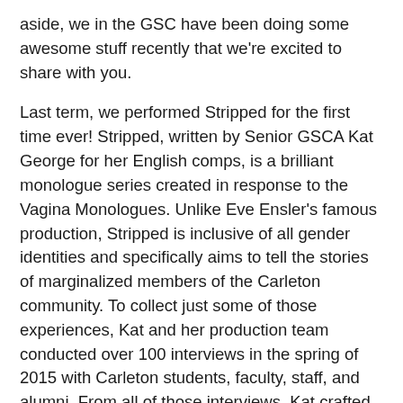aside, we in the GSC have been doing some awesome stuff recently that we're excited to share with you.
Last term, we performed Stripped for the first time ever! Stripped, written by Senior GSCA Kat George for her English comps, is a brilliant monologue series created in response to the Vagina Monologues. Unlike Eve Ensler's famous production, Stripped is inclusive of all gender identities and specifically aims to tell the stories of marginalized members of the Carleton community. To collect just some of those experiences, Kat and her production team conducted over 100 interviews in the spring of 2015 with Carleton students, faculty, staff, and alumni. From all of those interviews, Kat crafted Stripped, a series of 13 monologues about topics ranging from queerness, mental health, abortion, racism, and more. And in the end, the production was incredibly successful! We have never seen the chapel so packed—audience members completely filled the balcony, the lower level of the chapel, and they even spilled out into the